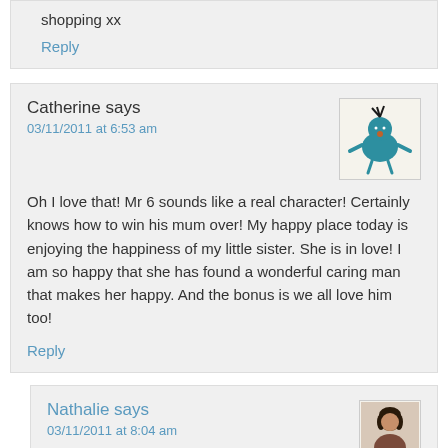shopping xx
Reply
Catherine says
03/11/2011 at 6:53 am
[Figure (illustration): Avatar illustration of a teal/blue cartoon figure with spiky black hair on a cream background]
Oh I love that! Mr 6 sounds like a real character! Certainly knows how to win his mum over! My happy place today is enjoying the happiness of my little sister. She is in love! I am so happy that she has found a wonderful caring man that makes her happy. And the bonus is we all love him too!
Reply
Nathalie says
03/11/2011 at 8:04 am
[Figure (photo): Small avatar photo of a woman with dark hair]